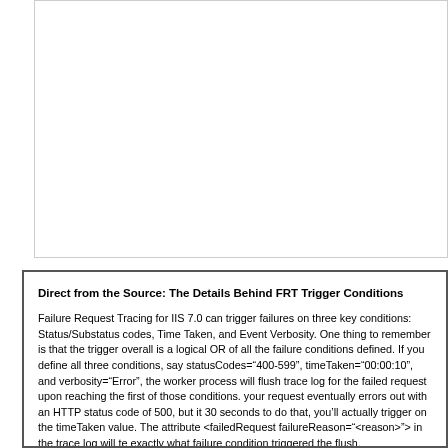[Figure (screenshot): Empty white box with thin border, likely containing a screenshot or diagram that is mostly blank/cropped in this view.]
Direct from the Source: The Details Behind FRT Trigger Conditions
Failure Request Tracing for IIS 7.0 can trigger failures on three key conditions: Status/Substatus codes, Time Taken, and Event Verbosity. One thing to remember is that the trigger overall is a logical OR of all the failure conditions defined. If you define all three conditions, say statusCodes="400-599", timeTaken="00:00:10", and verbosity="Error", the worker process will flush the trace log for the failed request upon reaching the first of those conditions. If your request eventually errors out with an HTTP status code of 500, but it takes 30 seconds to do that, you'll actually trigger on the timeTaken value. The attribute <failedRequest failureReason="<reason>"> in the trace log will tell exactly what failure condition triggered the flush.